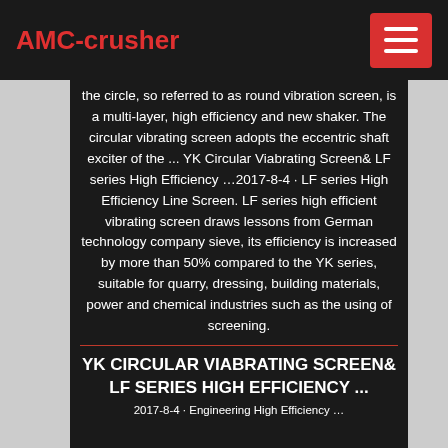AMC-crusher
the circle, so referred to as round vibration screen, is a multi-layer, high efficiency and new shaker. The circular vibrating screen adopts the eccentric shaft exciter of the ... YK Circular Viabrating Screen& LF series High Efficiency …2017-8-4 · LF series High Efficiency Line Screen. LF series high efficient vibrating screen draws lessons from German technology company sieve, its efficiency is increased by more than 50% compared to the YK series, suitable for quarry, dressing, building materials, power and chemical industries such as the using of screening.
YK CIRCULAR VIABRATING SCREEN& LF SERIES HIGH EFFICIENCY ...
2017-8-4 · Engineering High Efficiency …